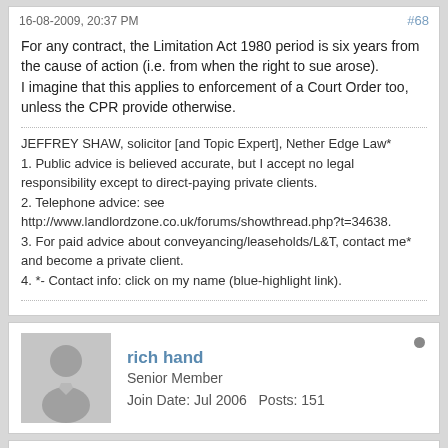16-08-2009, 20:37 PM   #68
For any contract, the Limitation Act 1980 period is six years from the cause of action (i.e. from when the right to sue arose).
I imagine that this applies to enforcement of a Court Order too, unless the CPR provide otherwise.
JEFFREY SHAW, solicitor [and Topic Expert], Nether Edge Law*
1. Public advice is believed accurate, but I accept no legal responsibility except to direct-paying private clients.
2. Telephone advice: see http://www.landlordzone.co.uk/forums/showthread.php?t=34638.
3. For paid advice about conveyancing/leaseholds/L&T, contact me* and become a private client.
4. *- Contact info: click on my name (blue-highlight link).
rich hand
Senior Member
Join Date: Jul 2006   Posts: 151
20-08-2009, 15:45 PM   #69